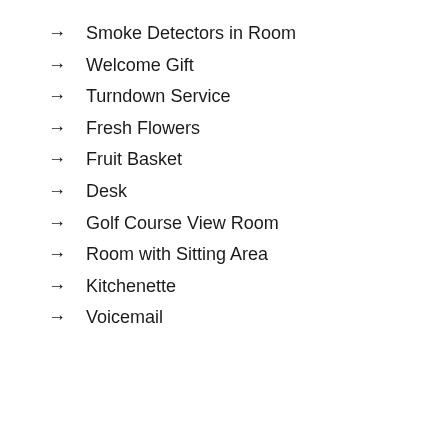Smoke Detectors in Room
Welcome Gift
Turndown Service
Fresh Flowers
Fruit Basket
Desk
Golf Course View Room
Room with Sitting Area
Kitchenette
Voicemail